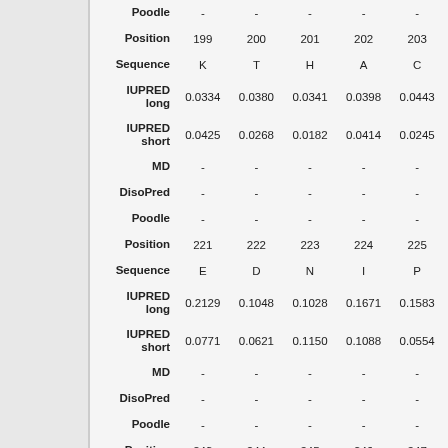|  | Col1 | Col2 | Col3 | Col4 | Col5 |
| --- | --- | --- | --- | --- | --- |
| Poodle | - | - | - | - | - |
| Position | 199 | 200 | 201 | 202 | 203 |
| Sequence | K | T | H | A | C |
| IUPRED long | 0.0334 | 0.0380 | 0.0341 | 0.0398 | 0.0443 |
| IUPRED short | 0.0425 | 0.0268 | 0.0182 | 0.0414 | 0.0245 |
| MD | - | - | - | - | - |
| DisoPred | - | - | - | - | - |
| Poodle | - | - | - | - | - |
| Position | 221 | 222 | 223 | 224 | 225 |
| Sequence | E | D | N | I | P |
| IUPRED long | 0.2129 | 0.1048 | 0.1028 | 0.1671 | 0.1583 |
| IUPRED short | 0.0771 | 0.0621 | 0.1150 | 0.1088 | 0.0554 |
| MD | - | - | - | - | - |
| DisoPred | - | - | - | - | - |
| Poodle | - | - | - | - | - |
| Position | 243 | 244 | 245 | 246 | 247 |